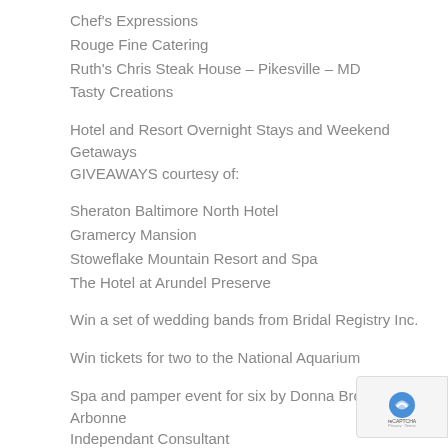Chef's Expressions
Rouge Fine Catering
Ruth's Chris Steak House – Pikesville – MD
Tasty Creations
Hotel and Resort Overnight Stays and Weekend Getaways GIVEAWAYS courtesy of:
Sheraton Baltimore North Hotel
Gramercy Mansion
Stoweflake Mountain Resort and Spa
The Hotel at Arundel Preserve
Win a set of wedding bands from Bridal Registry Inc.
Win tickets for two to the National Aquarium
Spa and pamper event for six by Donna Brown – Arbonne Independant Consultant
Win a bachelorette party courtesy of Dick's Last Resort –